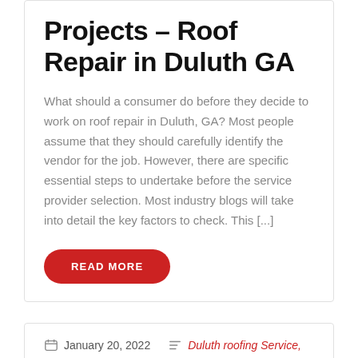Projects – Roof Repair in Duluth GA
What should a consumer do before they decide to work on roof repair in Duluth, GA? Most people assume that they should carefully identify the vendor for the job. However, there are specific essential steps to undertake before the service provider selection. Most industry blogs will take into detail the key factors to check. This [...]
READ MORE
January 20, 2022
Duluth roofing Service,